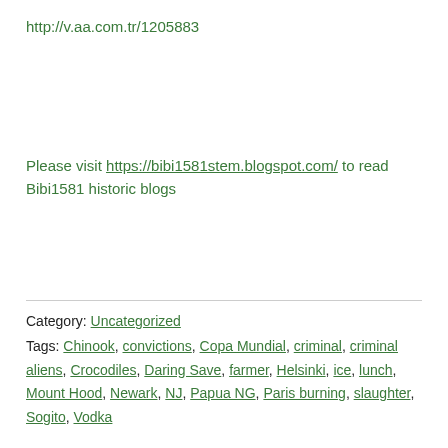http://v.aa.com.tr/1205883
Please visit https://bibi1581stem.blogspot.com/ to read Bibi1581 historic blogs
Category: Uncategorized
Tags: Chinook, convictions, Copa Mundial, criminal, criminal aliens, Crocodiles, Daring Save, farmer, Helsinki, ice, lunch, Mount Hood, Newark, NJ, Papua NG, Paris burning, slaughter, Sogito, Vodka